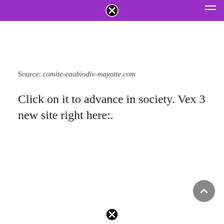Source: comite-eaubiodiv-mayotte.com
Click on it to advance in society. Vex 3 new site right here:.